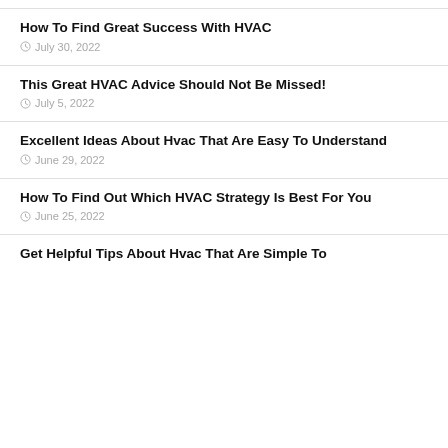How To Find Great Success With HVAC
July 30, 2022
This Great HVAC Advice Should Not Be Missed!
July 5, 2022
Excellent Ideas About Hvac That Are Easy To Understand
June 29, 2022
How To Find Out Which HVAC Strategy Is Best For You
June 25, 2022
Get Helpful Tips About Hvac That Are Simple To